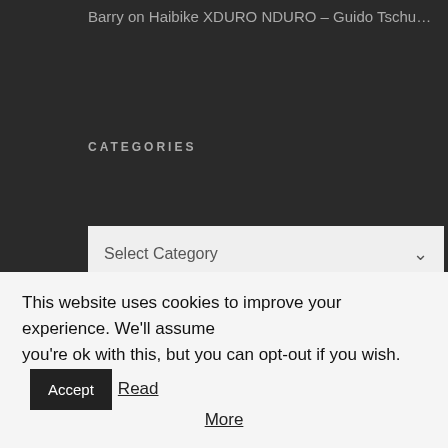Barry on Haibike XDURO NDURO – Guido Tschugg Custo…
CATEGORIES
Select Category
LATEST POSTS
2021 HAIBIKE ALLMTN IS OUTSTANDI…
This website uses cookies to improve your experience. We'll assume you're ok with this, but you can opt-out if you wish. Accept Read More